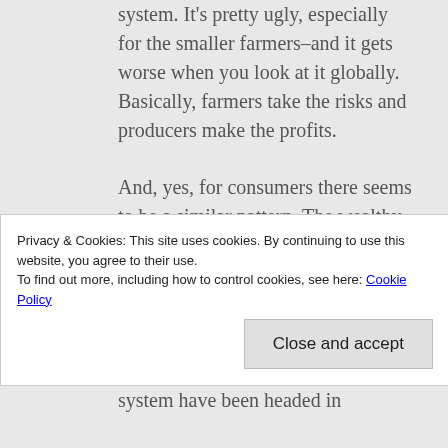system. It's pretty ugly, especially for the smaller farmers–and it gets worse when you look at it globally. Basically, farmers take the risks and producers make the profits.
And, yes, for consumers there seems to be a similar pattern. The wealthy can make any diet work, and the poor can't afford any diet but one that will turn
Privacy & Cookies: This site uses cookies. By continuing to use this website, you agree to their use. To find out more, including how to control cookies, see here: Cookie Policy
Close and accept
system have been headed in